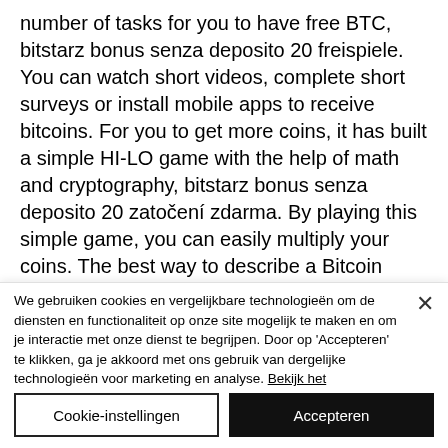number of tasks for you to have free BTC, bitstarz bonus senza deposito 20 freispiele. You can watch short videos, complete short surveys or install mobile apps to receive bitcoins. For you to get more coins, it has built a simple HI-LO game with the help of math and cryptography, bitstarz bonus senza deposito 20 zatočení zdarma. By playing this simple game, you can easily multiply your coins. The best way to describe a Bitcoin faucet is by calling it a system of reward. It is
We gebruiken cookies en vergelijkbare technologieën om de diensten en functionaliteit op onze site mogelijk te maken en om je interactie met onze dienst te begrijpen. Door op 'Accepteren' te klikken, ga je akkoord met ons gebruik van dergelijke technologieën voor marketing en analyse. Bekijk het privacybeleid